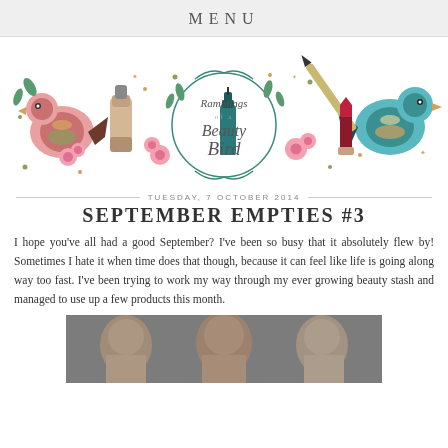MENU
[Figure (illustration): Ramblings of a Beauty Bird blog banner with illustrated birds, flowers, makeup items (nail polish, lipstick, foundation tube, eyeliner) in pink, teal, and beige tones on white background]
TUESDAY, 7 OCTOBER 2014
SEPTEMBER EMPTIES #3
I hope you've all had a good September? I've been so busy that it absolutely flew by! Sometimes I hate it when time does that though, because it can feel like life is going along way too fast. I've been trying to work my way through my ever growing beauty stash and managed to use up a few products this month.
[Figure (photo): Black and white photo showing faces/portraits, partially visible at bottom of page]